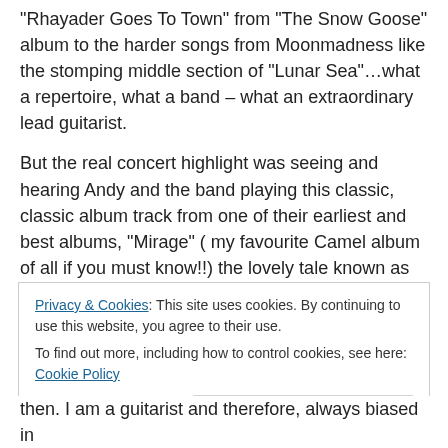“Rhayader Goes To Town” from “The Snow Goose” album to the harder songs from Moonmadness like the stomping middle section of “Lunar Sea”…what a repertoire, what a band – what an extraordinary lead guitarist.
But the real concert highlight was seeing and hearing Andy and the band playing this classic, classic album track from one of their earliest and best albums, “Mirage” ( my favourite Camel album of all if you must know!!) the lovely tale known as “Lady Fantasy” – a prog rock standard if there 3ver was one, a lengthy piece with various
Privacy & Cookies: This site uses cookies. By continuing to use this website, you agree to their use.
To find out more, including how to control cookies, see here: Cookie Policy
then. I am a guitarist and therefore, always biased in